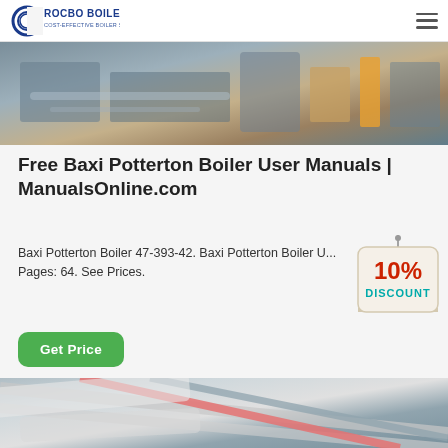ROCBO BOILER — COST-EFFECTIVE BOILER SUPPLIER
[Figure (photo): Industrial boiler or manufacturing facility equipment, partial view of machinery]
Free Baxi Potterton Boiler User Manuals | ManualsOnline.com
Baxi Potterton Boiler 47-393-42. Baxi Potterton Boiler U... Pages: 64. See Prices.
[Figure (illustration): 10% Discount badge — hanging sign graphic with red bold '10%' text and teal 'DISCOUNT' text]
[Figure (photo): Industrial pipes and ductwork on ceiling, including orange/red and blue pipes]